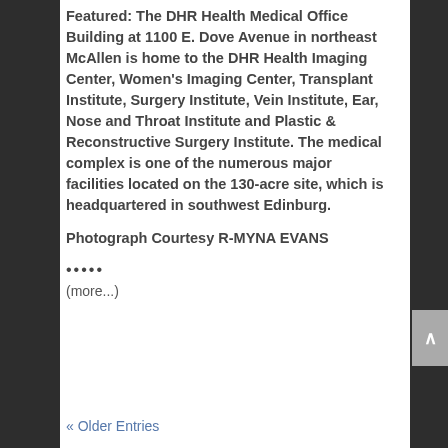Featured: The DHR Health Medical Office Building at 1100 E. Dove Avenue in northeast McAllen is home to the DHR Health Imaging Center, Women's Imaging Center, Transplant Institute, Surgery Institute, Vein Institute, Ear, Nose and Throat Institute and Plastic & Reconstructive Surgery Institute. The medical complex is one of the numerous major facilities located on the 130-acre site, which is headquartered in southwest Edinburg.
Photograph Courtesy R-MYNA EVANS
.....
(more...)
« Older Entries